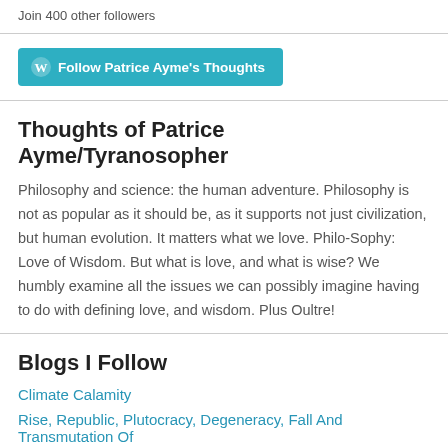Join 400 other followers
[Figure (other): Follow Patrice Ayme's Thoughts button (WordPress follow button in teal/cyan)]
Thoughts of Patrice Ayme/Tyranosopher
Philosophy and science: the human adventure. Philosophy is not as popular as it should be, as it supports not just civilization, but human evolution. It matters what we love. Philo-Sophy: Love of Wisdom. But what is love, and what is wise? We humbly examine all the issues we can possibly imagine having to do with defining love, and wisdom. Plus Oultre!
Blogs I Follow
Climate Calamity
Rise, Republic, Plutocracy, Degeneracy, Fall And Transmutation Of